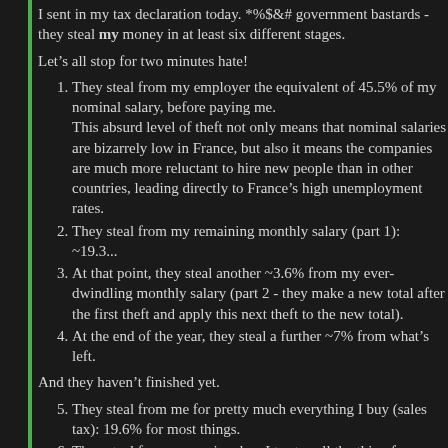I sent in my tax declaration today. *%$&# government bastards - they steal my money in at least six different stages.
Let’s all stop for two minutes hate!
They steal from my employer the equivalent of 45.5% of my nominal salary, before paying me. This absurd level of theft not only means that nominal salaries are bizarrely low in France, but also it means the companies are much more reluctant to hire new people than in other countries, leading directly to France’s high unemployment rates.
They steal from my remaining monthly salary (part 1): ~19.3...
At that point, they steal another ~3.6% from my ever-dwindling monthly salary (part 2 - they make a new total after the first theft and apply this next theft to the new total).
At the end of the year, they steal a further ~7% from what’s left.
And they haven’t finished yet.
They steal from me for pretty much everything I buy (sales tax): 19.6% for most things.
They steal from me again when I try to sell the thing from which they stole from me when I bought it (no.5): usually the same as the sales tax.